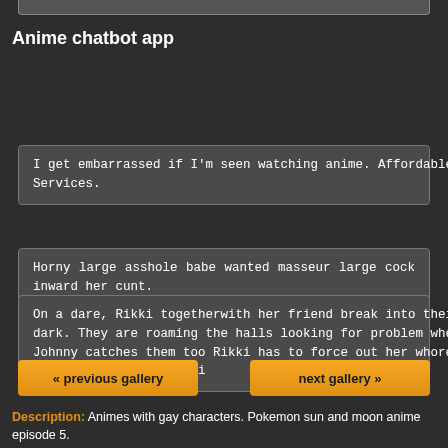Anime chatbot app
I get embarrassed if I'm seen watching anime. Affordable Video Animation Services.
Horny large asshole babe wanted masseur large cock inward her cunt.
On a dare, Rikki togetherwith her friend break into their schoolhouse after dark. They are roaming the halls looking for problem when Security Guard Johnny catches them too Rikki has to force out her whore hand to acquire a release reach on this i
« previous gallery
next gallery »
Description: Animes with gay characters. Pokemon sun and moon anime episode 5.